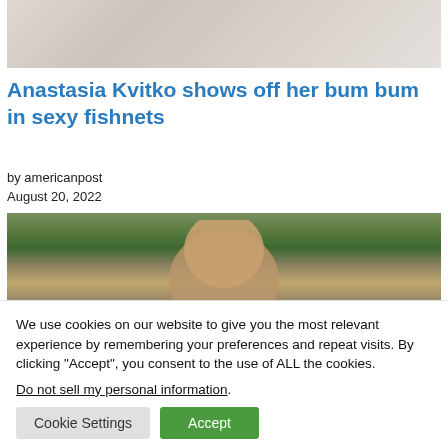[Figure (photo): Partial photo showing a person in white clothing against a light background, top portion cropped]
Anastasia Kvitko shows off her bum bum in sexy fishnets
by americanpost
August 20, 2022
[Figure (photo): Photo showing a person with dark hair outdoors among green foliage and flowers]
We use cookies on our website to give you the most relevant experience by remembering your preferences and repeat visits. By clicking “Accept”, you consent to the use of ALL the cookies.
Do not sell my personal information.